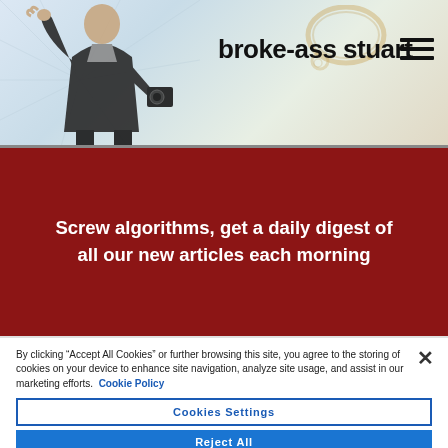broke-ass stuart
Screw algorithms, get a daily digest of all our new articles each morning
By clicking “Accept All Cookies” or further browsing this site, you agree to the storing of cookies on your device to enhance site navigation, analyze site usage, and assist in our marketing efforts. Cookie Policy
Cookies Settings
Reject All
Accept All Cookies